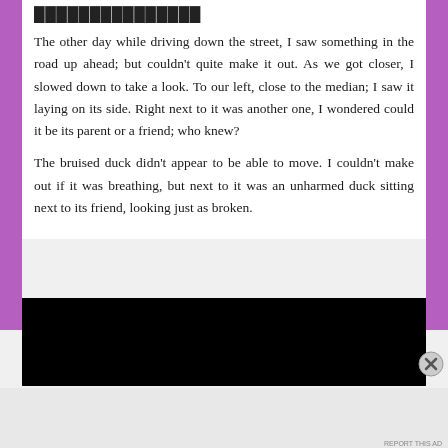...
The other day while driving down the street, I saw something in the road up ahead; but couldn't quite make it out. As we got closer, I slowed down to take a look. To our left, close to the median; I saw it laying on its side. Right next to it was another one, I wondered could it be its parent or a friend; who knew?
The bruised duck didn't appear to be able to move. I couldn't make out if it was breathing, but next to it was an unharmed duck sitting next to its friend, looking just as broken.
[Figure (photo): Black rectangle placeholder image]
Advertisements
Search, browse, and email with more privacy. All in One Free App — DuckDuckGo